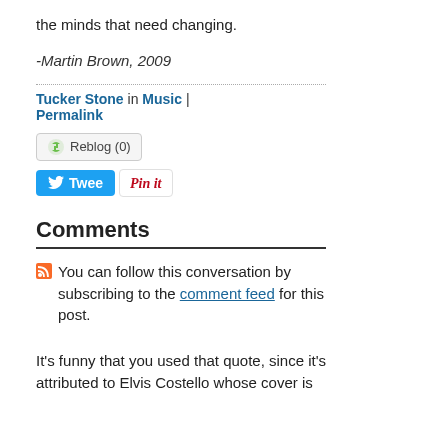the minds that need changing.
-Martin Brown, 2009
Tucker Stone in Music | Permalink
Reblog (0)
Tweet
Pin it
Comments
You can follow this conversation by subscribing to the comment feed for this post.
It's funny that you used that quote, since it's attributed to Elvis Costello whose cover is